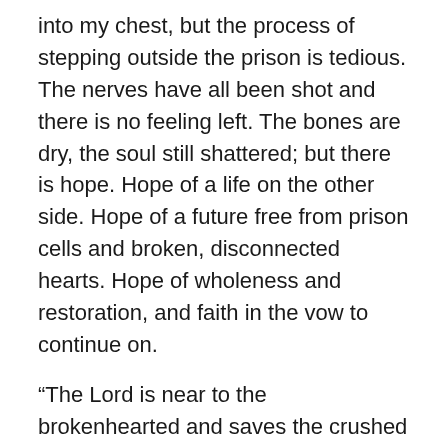into my chest, but the process of stepping outside the prison is tedious. The nerves have all been shot and there is no feeling left. The bones are dry, the soul still shattered; but there is hope. Hope of a life on the other side. Hope of a future free from prison cells and broken, disconnected hearts. Hope of wholeness and restoration, and faith in the vow to continue on.
“The Lord is near to the brokenhearted and saves the crushed in spirit.” Psalm 34:18
“He heals the brokenhearted and binds up their wounds.” Psalm 147:3
“He will wipe away every tear from their eyes, and death shall be no more, neither shall there be mourning, nor crying, nor pain anymore, for the former things have passed away.” Revelation 21:4